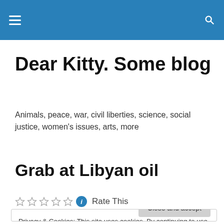Dear Kitty. Some blog — navigation header with hamburger menu and search icon
Dear Kitty. Some blog
Animals, peace, war, civil liberties, science, social justice, women's issues, arts, more
Grab at Libyan oil
Rate This
Privacy & Cookies: This site uses cookies. By continuing to use this website, you agree to their use.
To find out more, including how to control cookies, see here: Cookie Policy
Close and accept